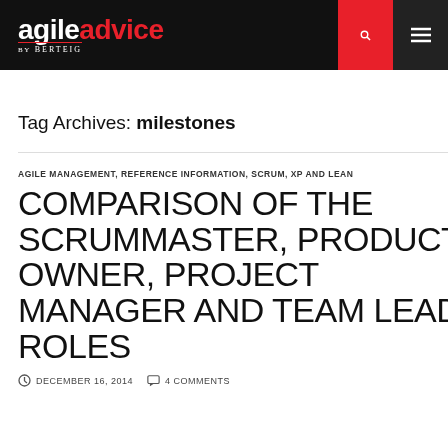agileadvice by BERTEIG
Tag Archives: milestones
AGILE MANAGEMENT, REFERENCE INFORMATION, SCRUM, XP AND LEAN
COMPARISON OF THE SCRUMMASTER, PRODUCT OWNER, PROJECT MANAGER AND TEAM LEAD ROLES
DECEMBER 16, 2014   4 COMMENTS